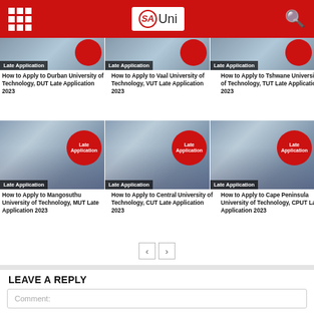SAUni
[Figure (photo): Three article cards with 'Late Application' badge images showing students]
How to Apply to Durban University of Technology, DUT Late Application 2023
How to Apply to Vaal University of Technology, VUT Late Application 2023
How to Apply to Tshwane University of Technology, TUT Late Application 2023
[Figure (photo): Three article cards with 'Late Application' badge images showing students working together]
How to Apply to Mangosuthu University of Technology, MUT Late Application 2023
How to Apply to Central University of Technology, CUT Late Application 2023
How to Apply to Cape Peninsula University of Technology, CPUT Late Application 2023
LEAVE A REPLY
Comment: